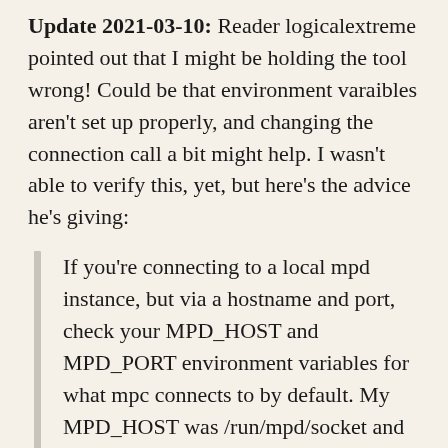Update 2021-03-10: Reader logicalextreme pointed out that I might be holding the tool wrong! Could be that environment varaibles aren't set up properly, and changing the connection call a bit might help. I wasn't able to verify this, yet, but here's the advice he's giving:
If you're connecting to a local mpd instance, but via a hostname and port, check your MPD_HOST and MPD_PORT environment variables for what mpc connects to by default. My MPD_HOST was /run/mpd/socket and the port was empty, and connecting with client.connect("/run/mpd/socket") eliminated the access denied error for me (I'm adding off the tip defaults, not id...